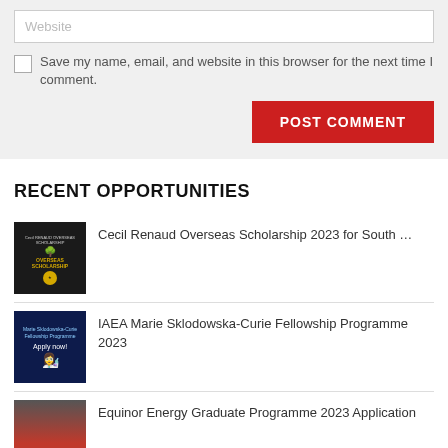Website
Save my name, email, and website in this browser for the next time I comment.
POST COMMENT
RECENT OPPORTUNITIES
Cecil Renaud Overseas Scholarship 2023 for South …
IAEA Marie Sklodowska-Curie Fellowship Programme 2023
Equinor Energy Graduate Programme 2023 Application